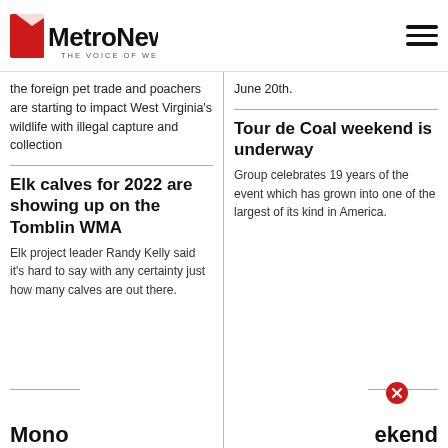MetroNews — THE VOICE OF WEST VIRGINIA
the foreign pet trade and poachers are starting to impact West Virginia's wildlife with illegal capture and collection
June 20th.
Elk calves for 2022 are showing up on the Tomblin WMA
Elk project leader Randy Kelly said it's hard to say with any certainty just how many calves are out there.
Tour de Coal weekend is underway
Group celebrates 19 years of the event which has grown into one of the largest of its kind in America.
Mono
ekend